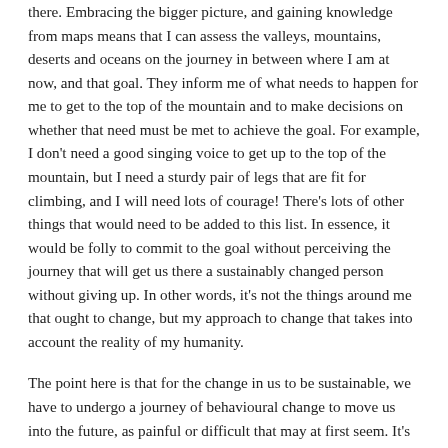there. Embracing the bigger picture, and gaining knowledge from maps means that I can assess the valleys, mountains, deserts and oceans on the journey in between where I am at now, and that goal. They inform me of what needs to happen for me to get to the top of the mountain and to make decisions on whether that need must be met to achieve the goal. For example, I don't need a good singing voice to get up to the top of the mountain, but I need a sturdy pair of legs that are fit for climbing, and I will need lots of courage! There's lots of other things that would need to be added to this list. In essence, it would be folly to commit to the goal without perceiving the journey that will get us there a sustainably changed person without giving up. In other words, it's not the things around me that ought to change, but my approach to change that takes into account the reality of my humanity.
The point here is that for the change in us to be sustainable, we have to undergo a journey of behavioural change to move us into the future, as painful or difficult that may at first seem. It's the most foolproof way of tackling barriers and remaining committed to the goal. We need to let go of old 'vicious' habits, and form new 'virtuous' habits. Elisabeth Kübler-Ross, back in 1969, upon observing the process of overcoming grief and bereavement, identified a characteristic pattern of responses that human beings